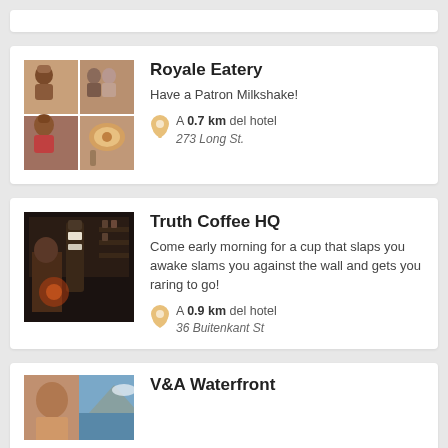[Figure (photo): Partial white card at top of page]
Royale Eatery
Have a Patron Milkshake!
A 0.7 km del hotel
273 Long St.
Truth Coffee HQ
Come early morning for a cup that slaps you awake slams you against the wall and gets you raring to go!
A 0.9 km del hotel
36 Buitenkant St
V&A Waterfront